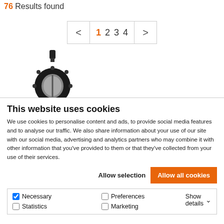76 Results found
< 1 2 3 4 >
[Figure (photo): Butterfly valve product photo - black industrial butterfly valve with flanged body]
This website uses cookies
We use cookies to personalise content and ads, to provide social media features and to analyse our traffic. We also share information about your use of our site with our social media, advertising and analytics partners who may combine it with other information that you've provided to them or that they've collected from your use of their services.
Allow selection | Allow all cookies
Necessary  Preferences  Statistics  Marketing  Show details